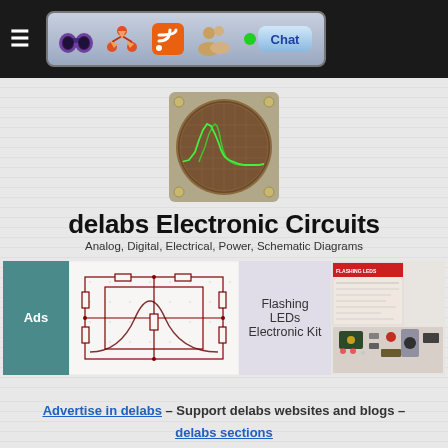≡ [Navigation toolbar with icons: binoculars, network/share, RSS feed, users/community, Chat button]
[Figure (screenshot): Oscilloscope screen showing a green waveform on a dark circular display with grid, set in a square bezel with corner screws]
delabs Electronic Circuits
Analog, Digital, Electrical, Power, Schematic Diagrams
Ads
[Figure (schematic): Electronic schematic circuit diagram with resistors and a sine/bell curve graph overlay on white background]
Flashing LEDs Electronic Kit
[Figure (photo): Photo of an electronic kit with components and instruction booklet]
Advertise in delabs – Support delabs websites and blogs – delabs sections